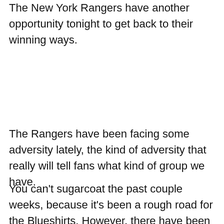The New York Rangers have another opportunity tonight to get back to their winning ways.
The Rangers have been facing some adversity lately, the kind of adversity that really will tell fans what kind of group we have.
You can't sugarcoat the past couple weeks, because it's been a rough road for the Blueshirts. However, there have been sparks of life that can keep fans optimistic.